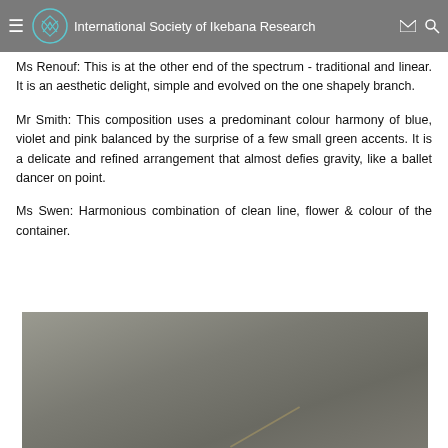International Society of Ikebana Research
Ms Renouf: This is at the other end of the spectrum - traditional and linear. It is an aesthetic delight, simple and evolved on the one shapely branch.
Mr Smith: This composition uses a predominant colour harmony of blue, violet and pink balanced by the surprise of a few small green accents. It is a delicate and refined arrangement that almost defies gravity, like a ballet dancer on point.
Ms Swen: Harmonious combination of clean line, flower & colour of the container.
[Figure (photo): A photograph of an ikebana flower arrangement on a grey-toned background, partially visible at the bottom of the page.]